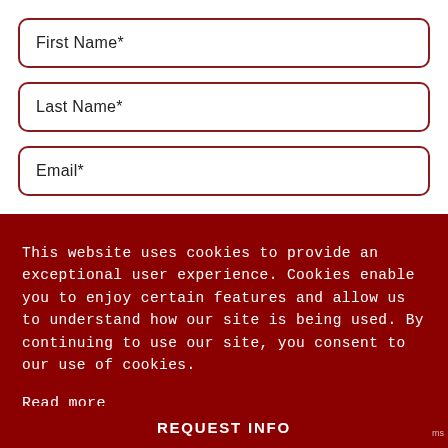First Name*
Last Name*
Email*
This website uses cookies to provide an exceptional user experience. Cookies enable you to enjoy certain features and allow us to understand how our site is being used. By continuing to use our site, you consent to our use of cookies.
Read more
Decline
Accept Cookies
REQUEST INFO